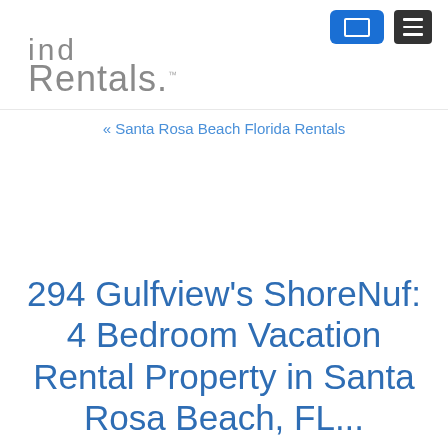Find Rentals.
« Santa Rosa Beach Florida Rentals
294 Gulfview's ShoreNuf: 4 Bedroom Vacation Rental Property in Santa Rosa Beach, FL...